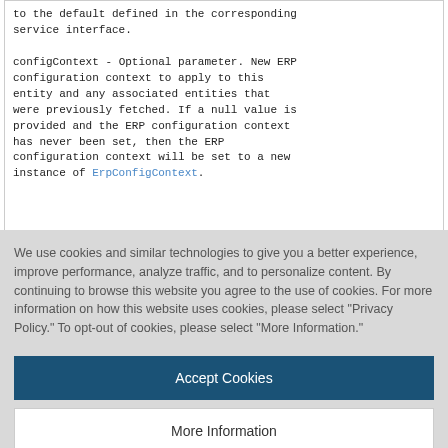to the default defined in the corresponding service interface.

configContext - Optional parameter. New ERP configuration context to apply to this entity and any associated entities that were previously fetched. If a null value is provided and the ERP configuration context has never been set, then the ERP configuration context will be set to a new instance of ErpConfigContext.
We use cookies and similar technologies to give you a better experience, improve performance, analyze traffic, and to personalize content. By continuing to browse this website you agree to the use of cookies. For more information on how this website uses cookies, please select "Privacy Policy." To opt-out of cookies, please select "More Information."
Accept Cookies
More Information
Privacy Policy | Powered by: TrustArc